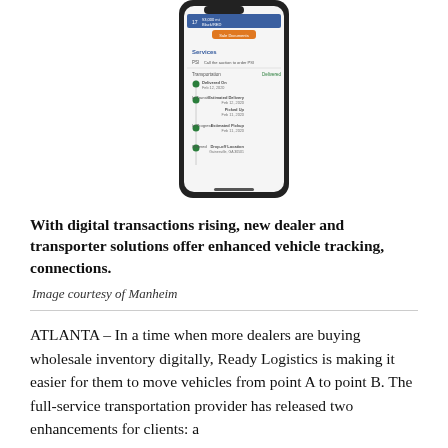[Figure (screenshot): A smartphone screen showing a vehicle transport tracking app with sections for Services, PSI, Transportation (Delivered), In Transit (Estimated Delivery Feb 12, 2020; Picked Up Feb 11, 2020), In Progress (Estimated Pickup Feb 11, 2020), and Ordered (Drop-off Location). There is an orange 'Sale Documents' button. The phone has a dark bezel.]
With digital transactions rising, new dealer and transporter solutions offer enhanced vehicle tracking, connections.
Image courtesy of Manheim
ATLANTA – In a time when more dealers are buying wholesale inventory digitally, Ready Logistics is making it easier for them to move vehicles from point A to point B. The full-service transportation provider has released two enhancements for clients: a